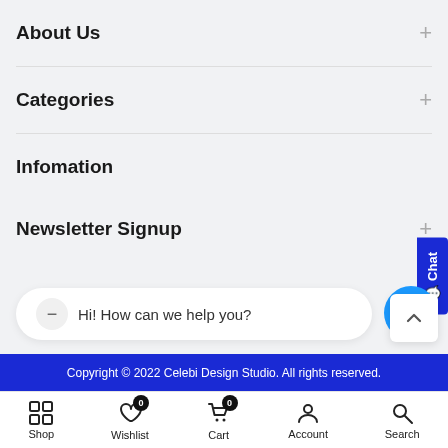About Us
Categories
Infomation
Newsletter Signup
Hi! How can we help you?
Copyright © 2022 Celebi Design Studio. All rights reserved.
Shop Wishlist Cart Account Search